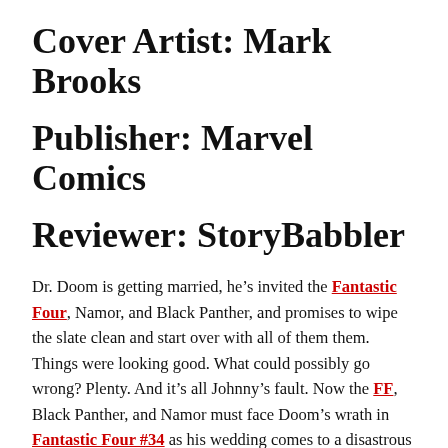Cover Artist: Mark Brooks
Publisher: Marvel Comics
Reviewer: StoryBabbler
Dr. Doom is getting married, he’s invited the Fantastic Four, Namor, and Black Panther, and promises to wipe the slate clean and start over with all of them them. Things were looking good. What could possibly go wrong? Plenty. And it’s all Johnny’s fault. Now the FF, Black Panther, and Namor must face Doom’s wrath in Fantastic Four #34 as his wedding comes to a disastrous conclusion.